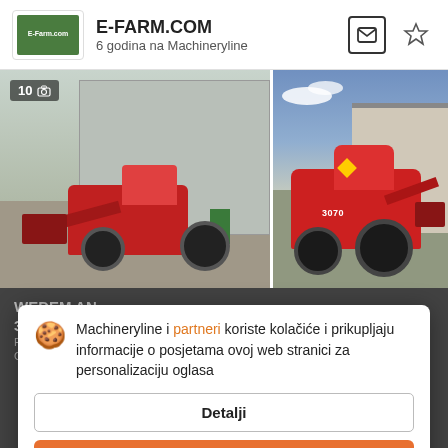E-FARM.COM
6 godina na Machineryline
[Figure (photo): Two photos of red agricultural wheel loaders/tractors parked outdoors. Left photo shows a compact red machine with front loader attachment in front of a grey building. Right photo shows a larger red tractor model 3070 with front loader attachment outdoors. Badge shows '10' with camera icon.]
WEDEM AN...
36.500 E...
Prezo objavenye c...
Godinu: 2015-08-08  Kilom...00 m/c
Machineryline i partneri koriste kolačiće i prikupljaju informacije o posjetama ovoj web stranici za personalizaciju oglasa
Detalji
Slažem se i zatvori